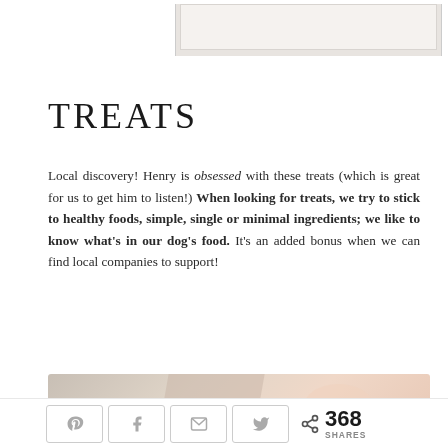[Figure (photo): Partial view of an image at top right of page, light gray/beige background visible]
TREATS
Local discovery! Henry is obsessed with these treats (which is great for us to get him to listen!) When looking for treats, we try to stick to healthy foods, simple, single or minimal ingredients; we like to know what's in our dog's food. It's an added bonus when we can find local companies to support!
[Figure (photo): Partial photo showing dog treats or food items with warm beige/peach tones]
368 SHARES